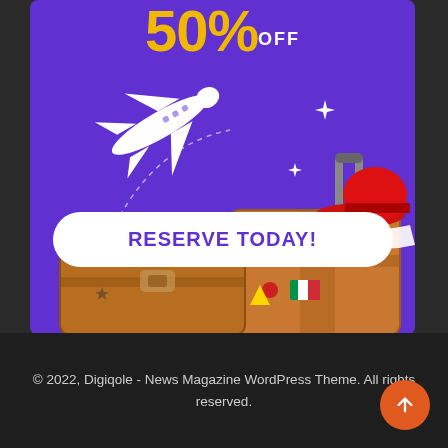[Figure (illustration): Travel promotional banner with purple background showing 50% OFF text in yellow, a white airplane illustration, sparkle stars, a red hat on a suitcase, brown travel luggage bags, and a 'RESERVE TODAY!' call-to-action button]
© 2022, Digiqole - News Magazine WordPress Theme. All rights reserved.